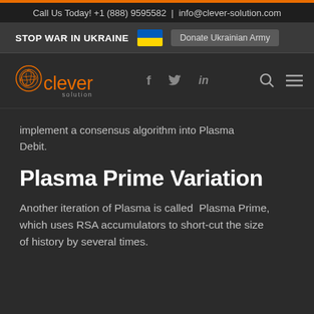Call Us Today! +1 (888) 9595582  |  info@clever-solution.com
STOP WAR IN UKRAINE  [Ukrainian flag]  Donate Ukrainian Army
[Figure (logo): Clever Solution logo: orange brain graphic with 'clever' in orange and 'solution' subtitle, alongside social icons (f, bird/twitter, in) and search/menu icons]
implement a consensus algorithm into Plasma Debit.
Plasma Prime Variation
Another iteration of Plasma is called  Plasma Prime, which uses RSA accumulators to short-cut the size of history by several times.